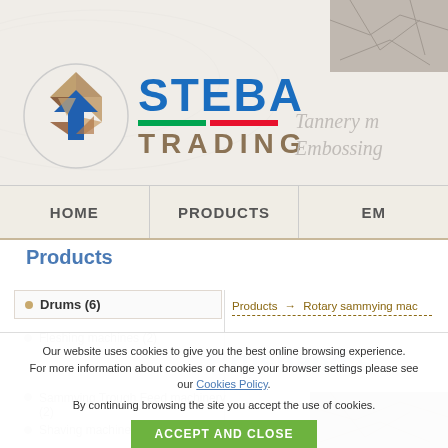[Figure (logo): Steba Trading company logo with circular icon and blue STEBA text with Italian flag bar and brown TRADING text]
Tannery m
Embossing
HOME   PRODUCTS   EM...
Products
Drums (6)
Fleshing machines (2)
Sammying Trough Feed machinery (2)
Shaving machines (3)
Products → Rotary sammying mac
[Figure (other): Brushband.s watermark text overlay]
Our website uses cookies to give you the best online browsing experience.
For more information about cookies or change your browser settings please see our Cookies Policy.
By continuing browsing the site you accept the use of cookies.
ACCEPT AND CLOSE